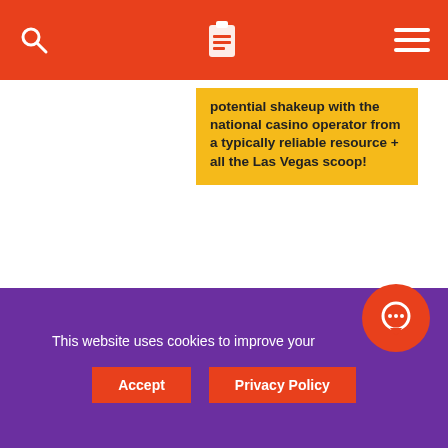Navigation header bar with search, logo, and menu icons
potential shakeup with the national casino operator from a typically reliable resource + all the Las Vegas scoop!
[Figure (photo): Basketball championship party promotional image showing a basketball player in a red jersey running with text 'CHAMPIONSHIP PARTY' on a dark background]
This website uses cookies to improve your experience.
Accept | Privacy Policy